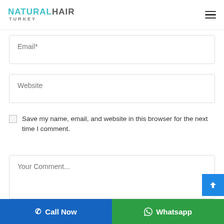[Figure (logo): Natural Hair Turkey logo with teal/cyan NATURALHAIR text and gray TURKEY subtitle, with hamburger menu icon on right]
Email*
Website
Save my name, email, and website in this browser for the next time I comment.
Your Comment...
Call Now
Whatsapp